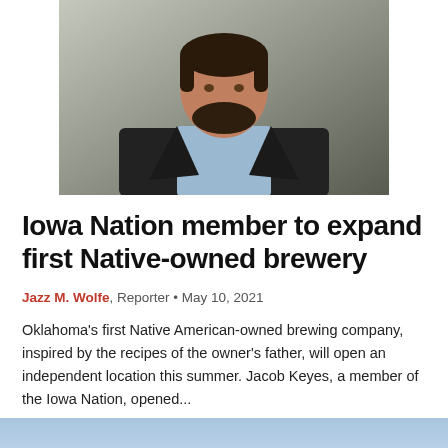[Figure (photo): Portrait photo of a bearded man in a dark blazer and light blue shirt, photographed from approximately chest up against a blurred background.]
Iowa Nation member to expand first Native-owned brewery
Jazz M. Wolfe, Reporter • May 10, 2021
Oklahoma's first Native American-owned brewing company, inspired by the recipes of the owner's father, will open an independent location this summer. Jacob Keyes, a member of the Iowa Nation, opened...